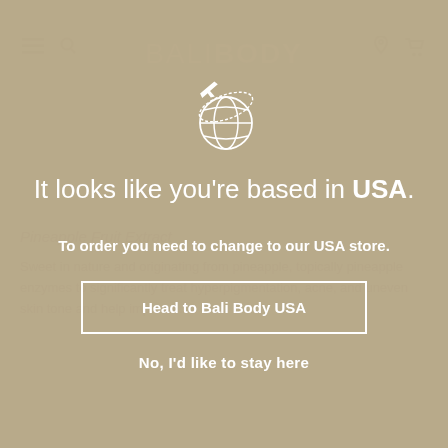[Figure (logo): Bali Body logo in white at top center, with navigation icons (hamburger, search, location pin, cart) on either side. Faded background showing product page content.]
[Figure (illustration): White outline illustration of a globe with an airplane circling around it, centered above the modal text.]
It looks like you're based in USA.
To order you need to change to our USA store.
Head to Bali Body USA
No, I'd like to stay here